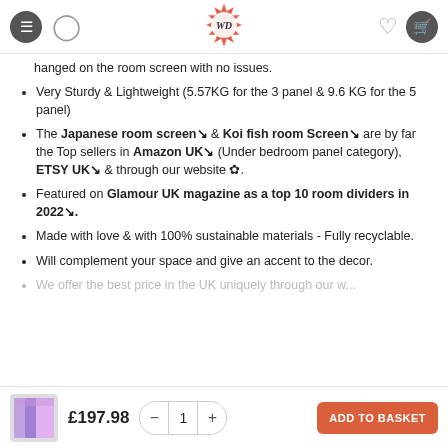WD logo navigation bar with menu, user, heart, and cart icons
hanged on the room screen with no issues.
Very Sturdy & Lightweight (5.57KG for the 3 panel & 9.6 KG for the 5 panel)
The Japanese room screen & Koi fish room Screen are by far the Top sellers in Amazon UK (Under bedroom panel category), ETSY UK & through our website.
Featured on Glamour UK magazine as a top 10 room dividers in 2022.
Made with love & with 100% sustainable materials - Fully recyclable.
Will complement your space and give an accent to the decor.
We offer the best price in the UK uniquely through our w...
Product image | £197.98 | Quantity -1+ | ADD TO BASKET